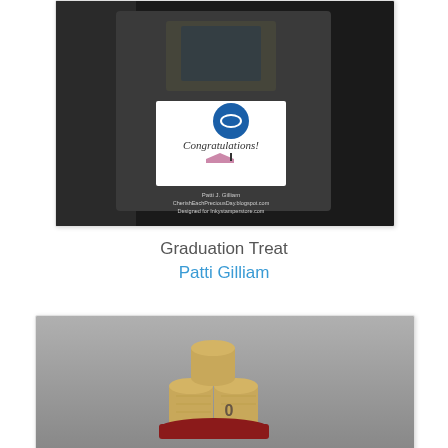[Figure (photo): A graduation treat gift box with 'Congratulations!' text and a graduation cap illustration, sitting on a dark surface. Photo credit: Patti J. Gilliam, CherishEachPreciousDay.blogspot.com, Designed for Inkystamperstore.com]
Graduation Treat
Patti Gilliam
[Figure (photo): Rolled up dollar bills arranged in a circular cake-like formation on a gray background, forming a money cake graduation gift]